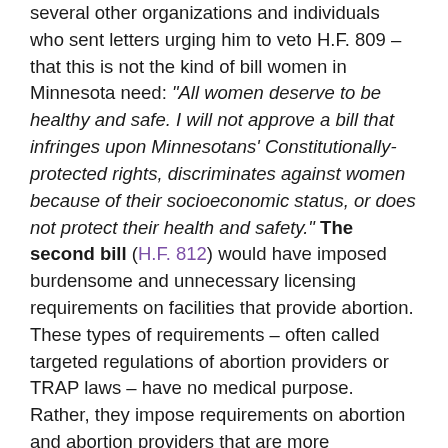several other organizations and individuals who sent letters urging him to veto H.F. 809 – that this is not the kind of bill women in Minnesota need: "All women deserve to be healthy and safe. I will not approve a bill that infringes upon Minnesotans' Constitutionally-protected rights, discriminates against women because of their socioeconomic status, or does not protect their health and safety." The second bill (H.F. 812) would have imposed burdensome and unnecessary licensing requirements on facilities that provide abortion. These types of requirements – often called targeted regulations of abortion providers or TRAP laws – have no medical purpose.  Rather, they impose requirements on abortion and abortion providers that are more burdensome than those imposed on similar medical procedures and practices, with the goal of making a woman's ability